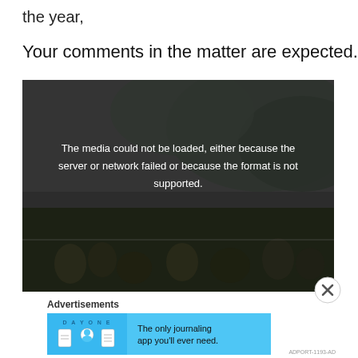the year,
Your comments in the matter are expected.
[Figure (other): Video player showing a dark outdoor scene with crowd. Error message overlay: 'The media could not be loaded, either because the server or network failed or because the format is not supported.']
Advertisements
[Figure (other): DayOne app advertisement banner with blue background. Text: 'The only journaling app you'll ever need.']